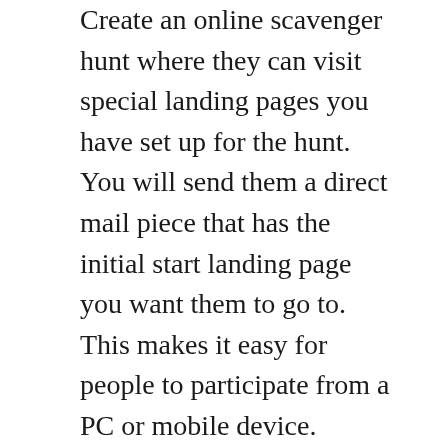Create an online scavenger hunt where they can visit special landing pages you have set up for the hunt. You will send them a direct mail piece that has the initial start landing page you want them to go to. This makes it easy for people to participate from a PC or mobile device.
Get creative and have fun with this. Yes, it is a marketing tool so you will want to highlight special offers and new products or services, but keep it light and fun. When you are able to do that your prospects and customers will enjoy themselves, share with others as well as buy from you. In order to pick the right hunt for your audience, consider how they currently buy from you. If they come to your location